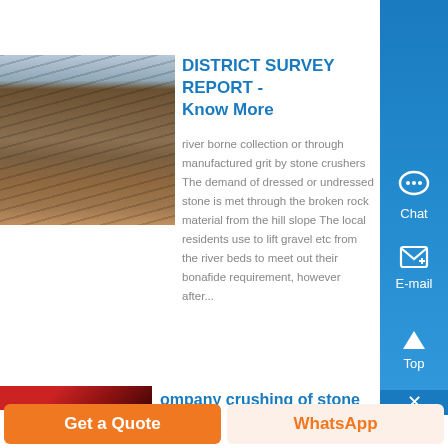crusher symbol flow sheet diagram neueform...
[Figure (photo): Aerial view of a mining conveyor belt facility with long conveyor lines extending into the distance under a clear sky]
DISTRICT SURVEY REPORT - Know More
river borne collection or through manufactured grit by stone crushers The demand of dressed or undressed stone is met through the broken rock material from the hill slope The local residents use to lift gravel etc from the river beds to meet out their bonafide requirement, however after...
[Figure (photo): Close-up of red industrial crushing/mining machinery]
company crushing of stone
Get a Quote
WhatsApp